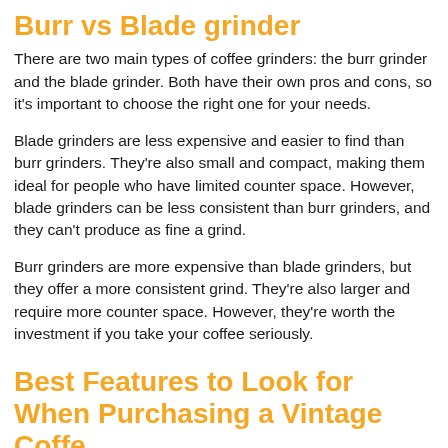Burr vs Blade grinder
There are two main types of coffee grinders: the burr grinder and the blade grinder. Both have their own pros and cons, so it's important to choose the right one for your needs.
Blade grinders are less expensive and easier to find than burr grinders. They're also small and compact, making them ideal for people who have limited counter space. However, blade grinders can be less consistent than burr grinders, and they can't produce as fine a grind.
Burr grinders are more expensive than blade grinders, but they offer a more consistent grind. They're also larger and require more counter space. However, they're worth the investment if you take your coffee seriously.
Best Features to Look for When Purchasing a Vintage Coffe